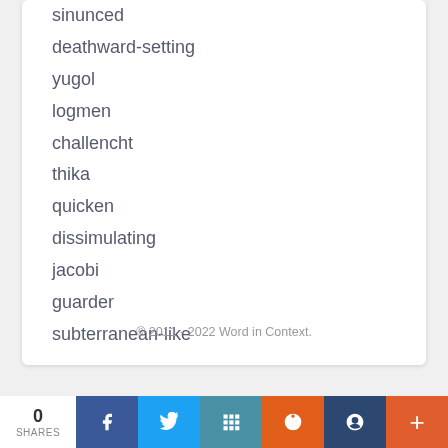sinunced
deathward-setting
yugol
logmen
challencht
thika
quicken
dissimulating
jacobi
guarder
subterranean-like
© 2011 - 2022 Word in Context.